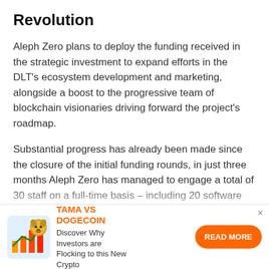Revolution
Aleph Zero plans to deploy the funding received in the strategic investment to expand efforts in the DLT’s ecosystem development and marketing, alongside a boost to the progressive team of blockchain visionaries driving forward the project’s roadmap.
Substantial progress has already been made since the closure of the initial funding rounds, in just three months Aleph Zero has managed to engage a total of 30 staff on a full-time basis – including 20 software developers. The investment has also enabled Aleph Zero to bring in the expertise of more
[Figure (infographic): Advertisement banner: TAMA VS DOGECOIN with a dog mascot and bar chart icon. Text: Discover Why Investors are Flocking to this New Crypto. Orange READ MORE button. Close X button.]